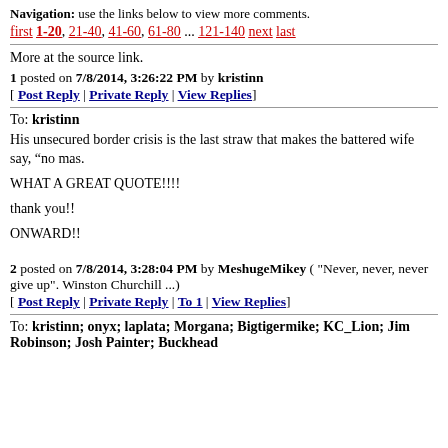Navigation: use the links below to view more comments.
first 1-20, 21-40, 41-60, 61-80 ... 121-140 next last
More at the source link.
1 posted on 7/8/2014, 3:26:22 PM by kristinn
[ Post Reply | Private Reply | View Replies ]
To: kristinn
His unsecured border crisis is the last straw that makes the battered wife say, “no mas.
WHAT A GREAT QUOTE!!!!
thank you!!
ONWARD!!
2 posted on 7/8/2014, 3:28:04 PM by MeshugeMikey ( "Never, never, never give up". Winston Churchill ...)
[ Post Reply | Private Reply | To 1 | View Replies ]
To: kristinn; onyx; laplata; Morgana; Bigtigermike; KC_Lion; Jim Robinson; Josh Painter; Buckhead